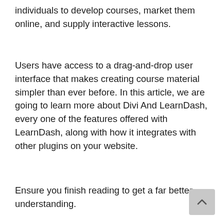individuals to develop courses, market them online, and supply interactive lessons.
Users have access to a drag-and-drop user interface that makes creating course material simpler than ever before. In this article, we are going to learn more about Divi And LearnDash, every one of the features offered with LearnDash, along with how it integrates with other plugins on your website.
Ensure you finish reading to get a far better understanding.